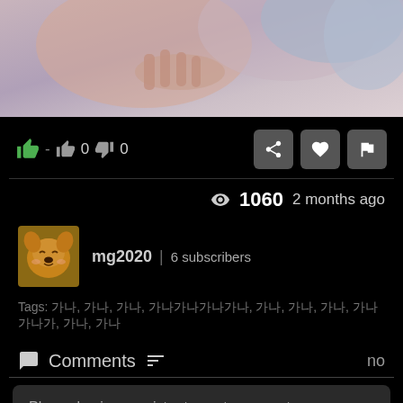[Figure (photo): Close-up photo showing a person with light blue/grey hair, their hand near their face, against a light pinkish-grey background]
👍 - 👍 0 👎 0
👁 1060   2 months ago
mg2020 | 6 subscribers
Tags: 한국, 한국, 한국, 한국한국한국, 한국, 한국, 한국, 한국한국, 한국, 한국
💬 Comments ↧= no
Please log in or register to post comments